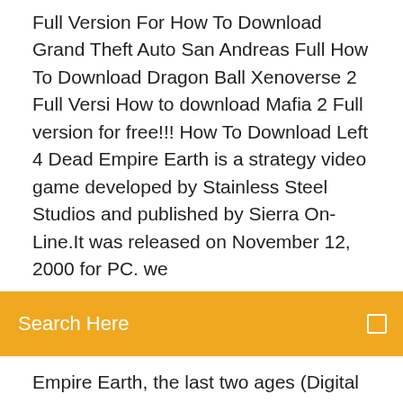Full Version For How To Download Grand Theft Auto San Andreas Full How To Download Dragon Ball Xenoverse 2 Full Versi How to download Mafia 2 Full version for free!!! How To Download Left 4 Dead Empire Earth is a strategy video game developed by Stainless Steel Studios and published by Sierra On-Line.It was released on November 12, 2000 for PC. we
Search Here
Empire Earth, the last two ages (Digital and Nano Ages) are set into the moderate future (at the time of release in 2001). Empire Earth 2 has a lot of stuff. Fourteen civilizations from four separate regions, each with three spell powers and three wonders, all available over the course of fifteen epochs, in which there are always at least six different resources and sometimes seven, and some of them being swapped out as you advance epochs? No problem. How about a Download Empire Earth II for Windows now from Softonic: 100% safe and virus free. More